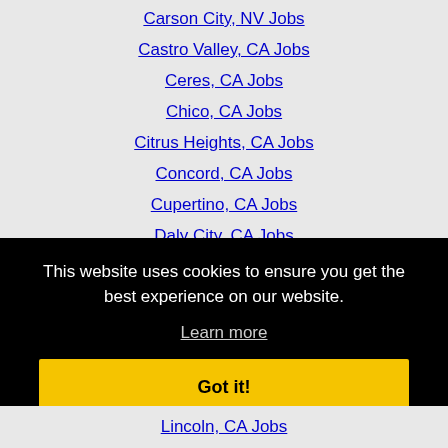Carson City, NV Jobs
Castro Valley, CA Jobs
Ceres, CA Jobs
Chico, CA Jobs
Citrus Heights, CA Jobs
Concord, CA Jobs
Cupertino, CA Jobs
Daly City, CA Jobs
Danville, CA Jobs
This website uses cookies to ensure you get the best experience on our website.
Learn more
Got it!
Lincoln, CA Jobs